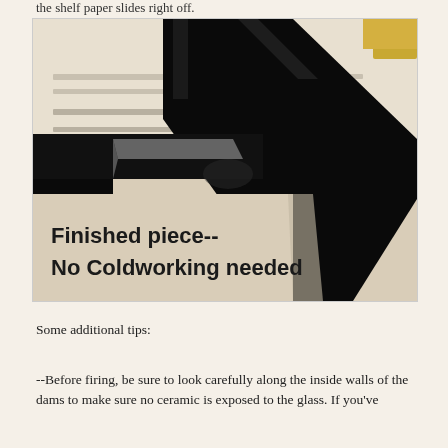the shelf paper slides right off.
[Figure (photo): Close-up photo of a finished glass piece in a black frame showing 'Finished piece-- No Coldworking needed' text overlay on a beige/cream background with black frame dividers crossing over the image]
Some additional tips:
--Before firing, be sure to look carefully along the inside walls of the dams to make sure no ceramic is exposed to the glass. If you've